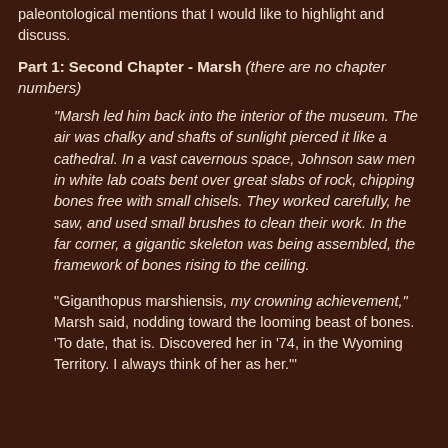paleontological mentions that I would like to highlight and discuss.
Part 1: Second Chapter - Marsh (there are no chapter numbers)
"Marsh led him back into the interior of the museum. The air was chalky and shafts of sunlight pierced it like a cathedral. In a vast cavernous space, Johnson saw men in white lab coats bent over great slabs of rock, chipping bones free with small chisels. They worked carefully, he saw, and used small brushes to clean their work. In the far corner, a gigantic skeleton was being assembled, the framework of bones rising to the ceiling.
"Giganthopus marshiensis, my crowning achievement," Marsh said, nodding toward the looming beast of bones. 'To date, that is. Discovered her in '74, in the Wyoming Territory. I always think of her as her.'"